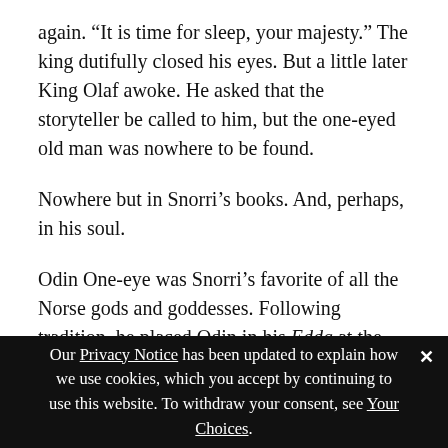again. “It is time for sleep, your majesty.” The king dutifully closed his eyes. But a little later King Olaf awoke. He asked that the storyteller be called to him, but the one-eyed old man was nowhere to be found.
Nowhere but in Snorri’s books. And, perhaps, in his soul.
Odin One-eye was Snorri’s favorite of all the Norse gods and goddesses. Following tradition, he placed Odin in his Edda at the head of the Viking pantheon of 12 gods and 12 goddesses. Then he increased his power so that, like the Christian God the Father, Snorri’s Odin All-Father governed all things great and small.
Our Privacy Notice has been updated to explain how we use cookies, which you accept by continuing to use this website. To withdraw your consent, see Your Choices.